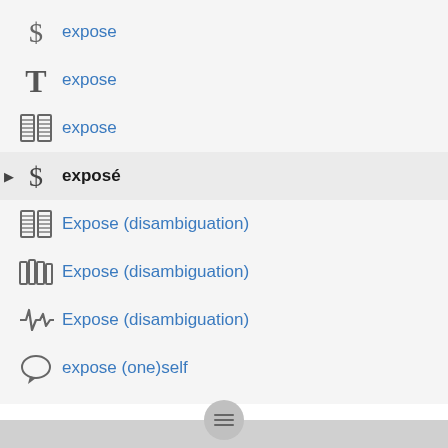expose
expose
expose
exposé
Expose (disambiguation)
Expose (disambiguation)
Expose (disambiguation)
expose (one)self